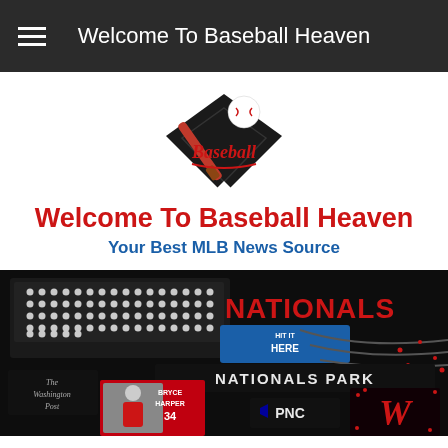Welcome To Baseball Heaven
[Figure (logo): Baseball Heaven logo: black diamond/home plate shape with a baseball bat and baseball on top, red cursive 'Baseball' text in the center]
Welcome To Baseball Heaven
Your Best MLB News Source
[Figure (photo): Nationals Park stadium at night showing scoreboard with 'HIT IT HERE', 'NATIONALS PARK' signage, 'The Washington Post' logo, Bryce Harper #34 image, PNC logo, and Washington Nationals W logo in red]